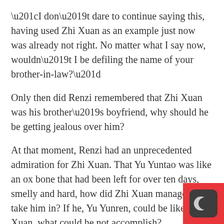“I don’t dare to continue saying this, having used Zhi Xuan as an example just now was already not right. No matter what I say now, wouldn’t I be defiling the name of your brother-in-law?”
Only then did Renzi remembered that Zhi Xuan was his brother’s boyfriend, why should he be getting jealous over him?
At that moment, Renzi had an unprecedented admiration for Zhi Xuan. That Yu Yuntao was like an ox bone that had been left for over ten days, smelly and hard, how did Zhi Xuan manage to take him in? If he, Yu Yunren, could be like Zhi Xuan, what could he not accomplish?
Renzi felt, he really should apprentice himself under Zhi Xuan!
Having made up his mind, Renzi went to work the nex The vice-president appearing at work was truly a rare
[Figure (logo): Red square background with a dark rounded-square icon containing a crescent moon symbol in light gray]